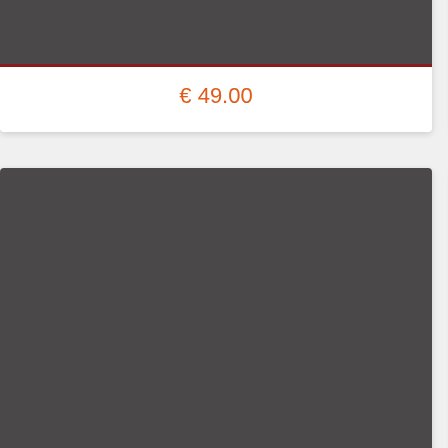€ 49.00
[Figure (photo): Product image placeholder - dark gray rectangle with dark red border]
Xiaomi Mi 11 T
Iebūvētā atmiņa: 256/8
€ 299.00
[Figure (photo): Product image placeholder - dark gray rectangle with dark red border, partially visible]